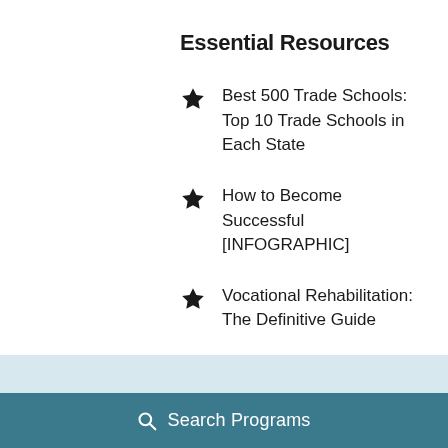Essential Resources
Best 500 Trade Schools: Top 10 Trade Schools in Each State
How to Become Successful [INFOGRAPHIC]
Vocational Rehabilitation: The Definitive Guide
How to Become: Get a Career, FAST!
Search Programs